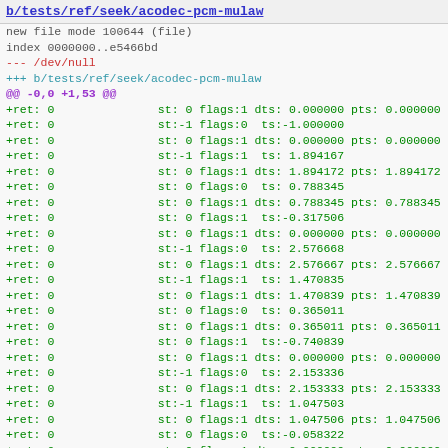b/tests/ref/seek/acodec-pcm-mulaw
new file mode 100644 (file)
index 0000000..e5466bd
--- /dev/null
+++ b/tests/ref/seek/acodec-pcm-mulaw
@@ -0,0 +1,53 @@
+ret: 0               st: 0 flags:1 dts: 0.000000 pts: 0.000000 po
+ret: 0               st:-1 flags:0  ts:-1.000000
+ret: 0               st: 0 flags:1 dts: 0.000000 pts: 0.000000 po
+ret: 0               st:-1 flags:1  ts: 1.894167
+ret: 0               st: 0 flags:1 dts: 1.894172 pts: 1.894172 po
+ret: 0               st: 0 flags:0  ts: 0.788345
+ret: 0               st: 0 flags:1 dts: 0.788345 pts: 0.788345 po
+ret: 0               st: 0 flags:1  ts:-0.317506
+ret: 0               st: 0 flags:1 dts: 0.000000 pts: 0.000000 po
+ret: 0               st:-1 flags:0  ts: 2.576668
+ret: 0               st: 0 flags:1 dts: 2.576667 pts: 2.576667 po
+ret: 0               st:-1 flags:1  ts: 1.470835
+ret: 0               st: 0 flags:1 dts: 1.470839 pts: 1.470839 po
+ret: 0               st: 0 flags:0  ts: 0.365011
+ret: 0               st: 0 flags:1 dts: 0.365011 pts: 0.365011 po
+ret: 0               st: 0 flags:1  ts:-0.740839
+ret: 0               st: 0 flags:1 dts: 0.000000 pts: 0.000000 po
+ret: 0               st:-1 flags:0  ts: 2.153336
+ret: 0               st: 0 flags:1 dts: 2.153333 pts: 2.153333 po
+ret: 0               st:-1 flags:1  ts: 1.047503
+ret: 0               st: 0 flags:1 dts: 1.047506 pts: 1.047506 po
+ret: 0               st: 0 flags:0  ts:-0.058322
+ret: 0               st: 0 flags:1 dts: 0.000000 pts: 0.000000 po
+ret: 0               st: 0 flags:1  ts: 2.835828
+ret: 0               st: 0 flags:1 dts: 2.835828 pts: 2.835828 po
+ret: 0               st:-1 flags:0  ts: 1.730004